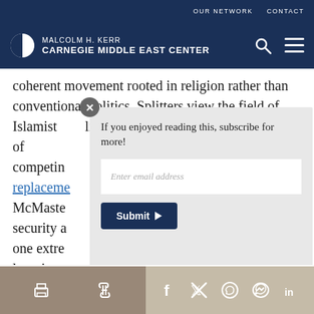OUR NETWORK   CONTACT
MALCOLM H. KERR CARNEGIE MIDDLE EAST CENTER
coherent movement rooted in religion rather than conventional politics. Splitters view the field of Islamist politics as divided among a wide range of competing [text cut off] replacement [text cut off] McMaste[r text cut off] security a[text cut off] one extre[text cut off] lumpiest [text cut off]
If you enjoyed reading this, subscribe for more!
Share icons: print, link, facebook, twitter, whatsapp, messenger, linkedin